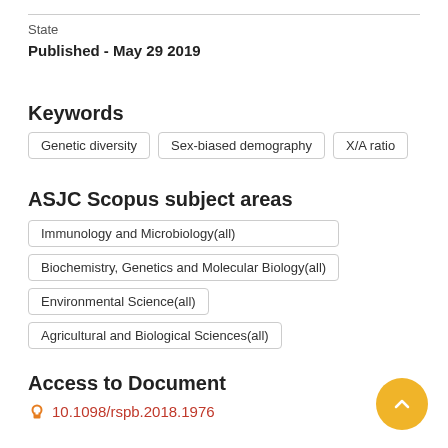State
Published - May 29 2019
Keywords
Genetic diversity
Sex-biased demography
X/A ratio
ASJC Scopus subject areas
Immunology and Microbiology(all)
Biochemistry, Genetics and Molecular Biology(all)
Environmental Science(all)
Agricultural and Biological Sciences(all)
Access to Document
10.1098/rspb.2018.1976